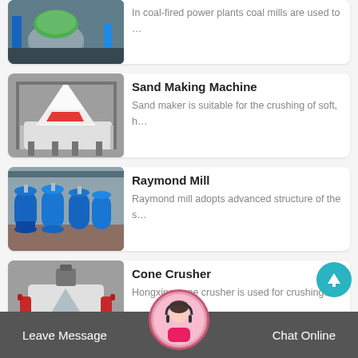[Figure (photo): Coal mill industrial machine in factory setting with green and blue equipment]
In coal-fired power plants coal mills are used to …
[Figure (photo): Sand Making Machine – white cone crusher machine]
Sand Making Machine
Sand maker is suitable for the crushing of soft, h…
[Figure (photo): Raymond Mill – blue cylindrical grinding machines]
Raymond Mill
Raymond mill adopts advanced structure of the s…
[Figure (photo): Cone Crusher – industrial crushing machine with red and black parts]
Cone Crusher
Hongxing cone crusher is used for crushing…
Leave Message   Chat Online